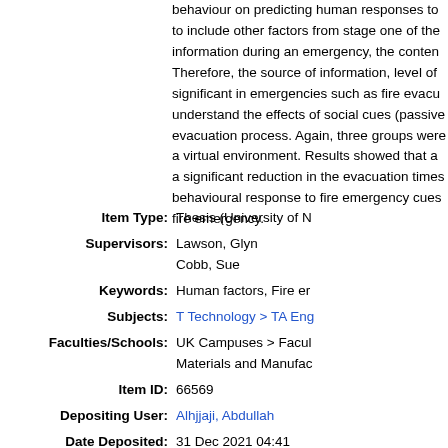behaviour on predicting human responses to to include other factors from stage one of the information during an emergency, the conten Therefore, the source of information, level of significant in emergencies such as fire evacu understand the effects of social cues (passive evacuation process. Again, three groups were a virtual environment. Results showed that a a significant reduction in the evacuation times behavioural response to fire emergency cues fire emergency.
| Field | Value |
| --- | --- |
| Item Type: | Thesis (University of N |
| Supervisors: | Lawson, Glyn
Cobb, Sue |
| Keywords: | Human factors, Fire er |
| Subjects: | T Technology > TA Eng |
| Faculties/Schools: | UK Campuses > Facul Materials and Manufac |
| Item ID: | 66569 |
| Depositing User: | Alhjjaji, Abdullah |
| Date Deposited: | 31 Dec 2021 04:41 |
| Last Modified: | 31 Dec 2021 04:41 |
| URI: | http://eprints.nottingha |